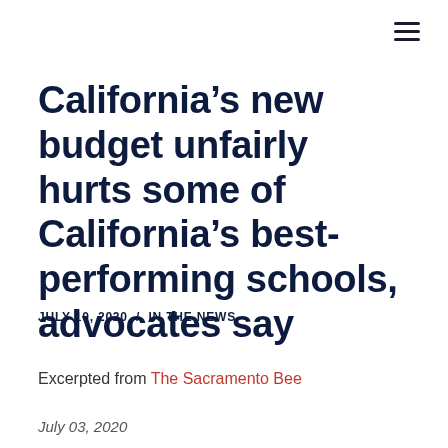California's new budget unfairly hurts some of California's best-performing schools, advocates say
JULY 10, 2020  /  IN THE NEWS
Excerpted from The Sacramento Bee
July 03, 2020